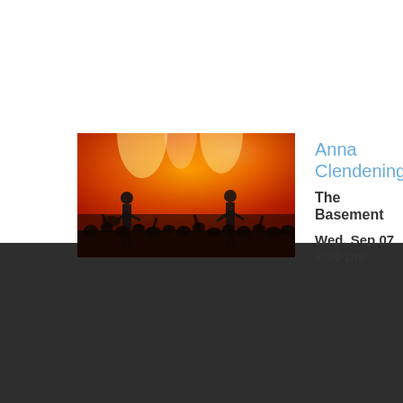[Figure (photo): Concert photo showing musicians on stage with orange/red lighting and silhouetted crowd in foreground]
Anna Clendening
The Basement
Wed, Sep 07 7:00 pm